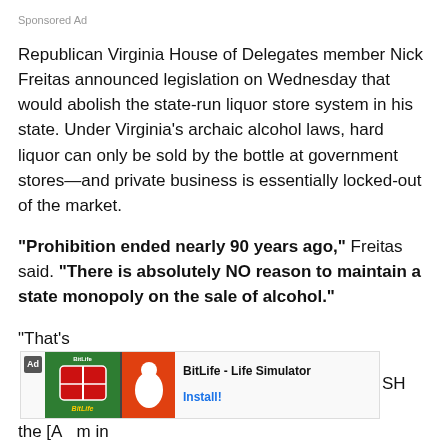Sponsored Ad
Republican Virginia House of Delegates member Nick Freitas announced legislation on Wednesday that would abolish the state-run liquor store system in his state. Under Virginia's archaic alcohol laws, hard liquor can only be sold by the bottle at government stores—and private business is essentially locked-out of the market.
“Prohibition ended nearly 90 years ago,” Freitas said. “There is absolutely NO reason to maintain a state monopoly on the sale of alcohol.”
“That’s [A... SH the [A... m in Virginia,” Freitas added.
[Figure (other): BitLife - Life Simulator app advertisement banner with game artwork showing a soccer jersey on green background and sperm icon on orange background, with Install! call to action]